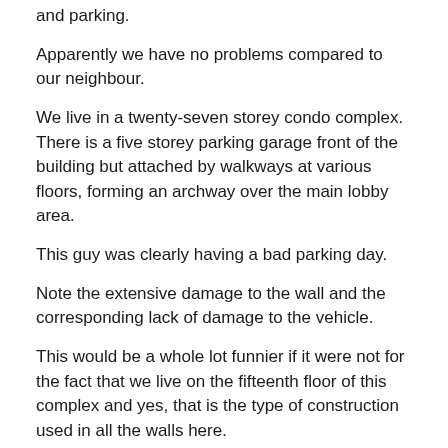and parking.
Apparently we have no problems compared to our neighbour.
We live in a twenty-seven storey condo complex. There is a five storey parking garage front of the building but attached by walkways at various floors, forming an archway over the main lobby area.
This guy was clearly having a bad parking day.
Note the extensive damage to the wall and the corresponding lack of damage to the vehicle.
This would be a whole lot funnier if it were not for the fact that we live on the fifteenth floor of this complex and yes, that is the type of construction used in all the walls here.